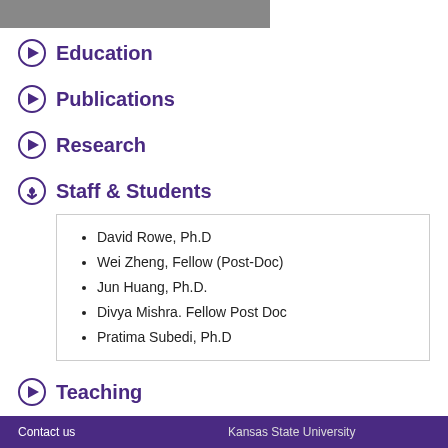[Figure (photo): Partial photo strip at top of page]
Education
Publications
Research
Staff & Students
David Rowe, Ph.D
Wei Zheng, Fellow (Post-Doc)
Jun Huang, Ph.D.
Divya Mishra. Fellow Post Doc
Pratima Subedi, Ph.D
Teaching
Contact us    Kansas State University